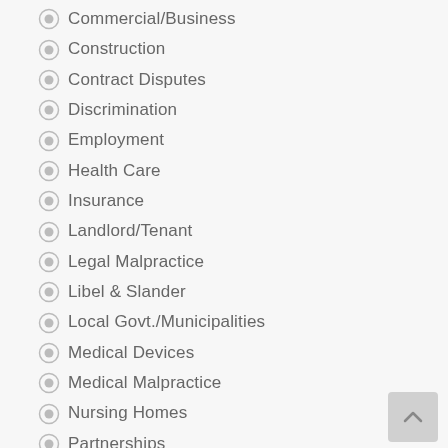Commercial/Business
Construction
Contract Disputes
Discrimination
Employment
Health Care
Insurance
Landlord/Tenant
Legal Malpractice
Libel & Slander
Local Govt./Municipalities
Medical Devices
Medical Malpractice
Nursing Homes
Partnerships
Personal Injury
Pharmaceuticals
Police
Premises Liability
Product Liability
Professional Fees
Professional Liability
Professional Malpractice